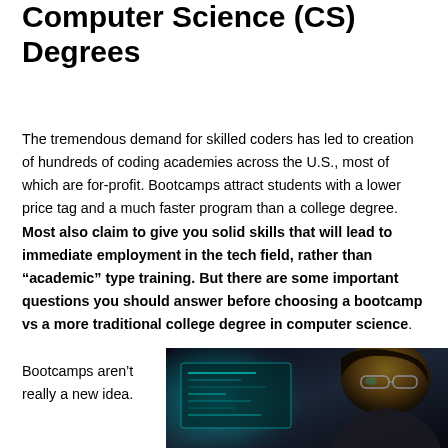Computer Science (CS) Degrees
The tremendous demand for skilled coders has led to creation of hundreds of coding academies across the U.S., most of which are for-profit. Bootcamps attract students with a lower price tag and a much faster program than a college degree. Most also claim to give you solid skills that will lead to immediate employment in the tech field, rather than “academic” type training. But there are some important questions you should answer before choosing a bootcamp vs a more traditional college degree in computer science.
Bootcamps aren’t really a new idea.
[Figure (photo): A person (appears to be a young woman with glasses) looking at a computer screen with code/technical display, photographed in dark lighting with blue-green screen glow illuminating the scene.]